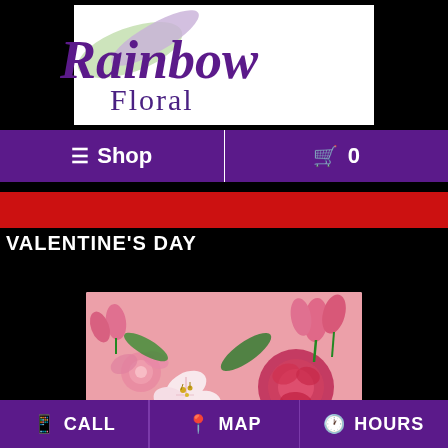[Figure (logo): Rainbow Floral logo with script text on white background]
≡ Shop   🛒 0
[Figure (photo): Red banner strip]
VALENTINE'S DAY
[Figure (photo): Photo of pink and red flower arrangement including roses, tulips, and alstroemeria on a pink background]
CALL   MAP   HOURS